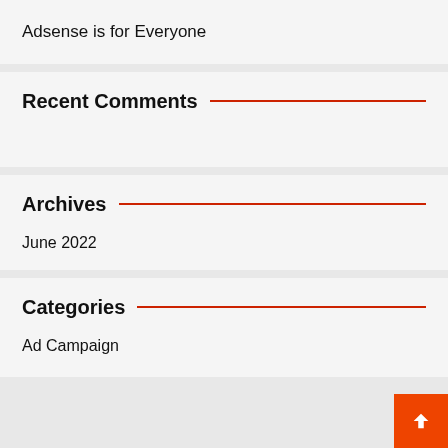Adsense is for Everyone
Recent Comments
Archives
June 2022
Categories
Ad Campaign